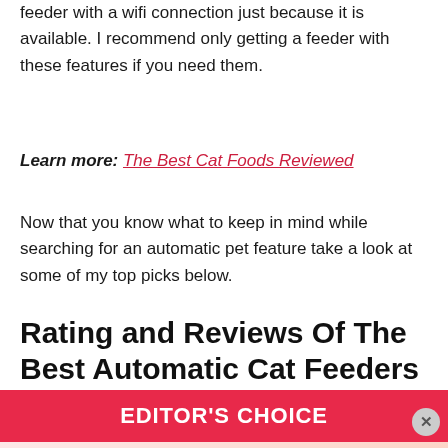feeder with a wifi connection just because it is available. I recommend only getting a feeder with these features if you need them.
Learn more: The Best Cat Foods Reviewed
Now that you know what to keep in mind while searching for an automatic pet feature take a look at some of my top picks below.
Rating and Reviews Of The Best Automatic Cat Feeders
EDITOR'S CHOICE